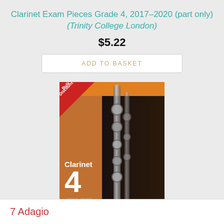Clarinet Exam Pieces Grade 4, 2017–2020 (part only) (Trinity College London)
$5.22
ADD TO BASKET
[Figure (photo): Book cover for Clarinet Exam Pieces Grade 4 2017-2020 with Bulk Discount banner in top left corner. Orange and dark background with clarinet imagery.]
Clarinet Exam Pieces Grade 4, 2017–2020 (score & part) (Trinity College London)
$11.68
ADD TO BASKET
7  Adagio